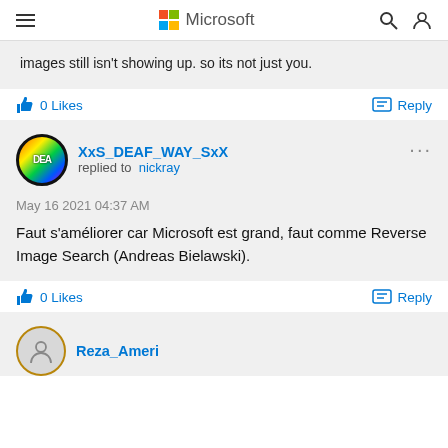Microsoft
images still isn't showing up. so its not just you.
0 Likes
Reply
XxS_DEAF_WAY_SxX replied to nickray
May 16 2021 04:37 AM
Faut s'améliorer car Microsoft est grand, faut comme Reverse Image Search (Andreas Bielawski).
0 Likes
Reply
Reza_Ameri